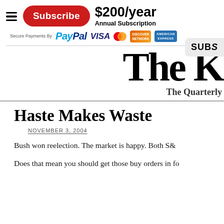[Figure (infographic): Subscription button area with red Subscribe button, $200/year annual subscription price, and payment logos (PayPal, Visa, Mastercard, Discover, American Express)]
SUBS…
The K…
The Quarterly…
Haste Makes Waste
NOVEMBER 3, 2004
Bush won reelection. The market is happy. Both S&…
Does that mean you should get those buy orders in fo…